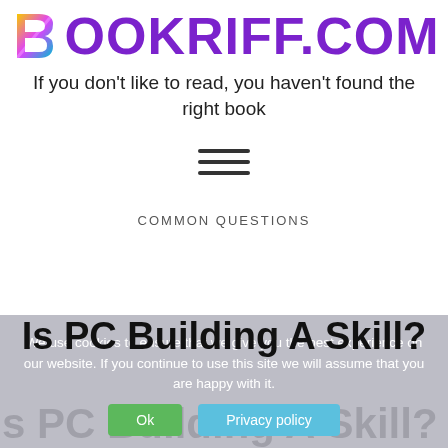[Figure (logo): Bookriff.com logo with colorful B icon and purple text]
If you don't like to read, you haven't found the right book
[Figure (infographic): Hamburger menu icon with three horizontal lines]
COMMON QUESTIONS
We use cookies to ensure that we give you the best experience on our website. If you continue to use this site we will assume that you are happy with it.
Is PC Building A Skill?
s PC Building A Skill?